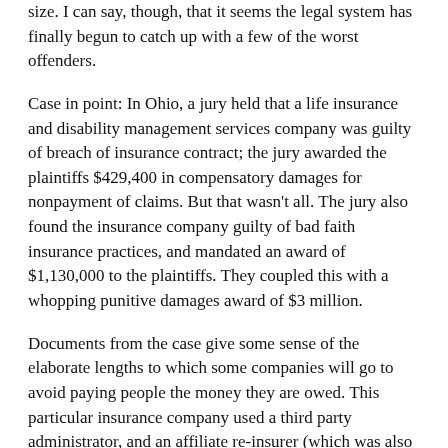size. I can say, though, that it seems the legal system has finally begun to catch up with a few of the worst offenders.
Case in point: In Ohio, a jury held that a life insurance and disability management services company was guilty of breach of insurance contract; the jury awarded the plaintiffs $429,400 in compensatory damages for nonpayment of claims. But that wasn't all. The jury also found the insurance company guilty of bad faith insurance practices, and mandated an award of $1,130,000 to the plaintiffs. They coupled this with a whopping punitive damages award of $3 million.
Documents from the case give some sense of the elaborate lengths to which some companies will go to avoid paying people the money they are owed. This particular insurance company used a third party administrator, and an affiliate re-insurer (which was also a 40% owner of the third party administrator) to combine their efforts in an illegal scheme to avoid paying completely legitimate claims.
The scheme involved a whole host of complex accounting maneuvers, as well as false information that was submitted to an